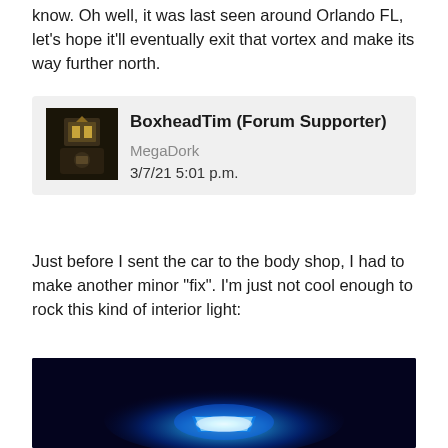know. Oh well, it was last seen around Orlando FL, let's hope it'll eventually exit that vortex and make its way further north.
BoxheadTim (Forum Supporter) MegaDork
3/7/21 5:01 p.m.
Just before I sent the car to the body shop, I had to make another minor "fix". I'm just not cool enough to rock this kind of interior light:
[Figure (photo): Dark interior car photo showing a glowing blue LED interior light against a very dark background]